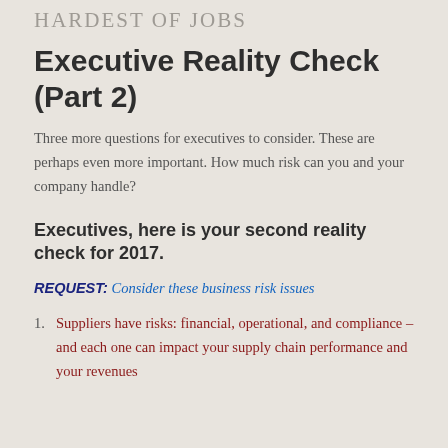HARDEST OF JOBS
Executive Reality Check (Part 2)
Three more questions for executives to consider. These are perhaps even more important. How much risk can you and your company handle?
Executives, here is your second reality check for 2017.
REQUEST: Consider these business risk issues
Suppliers have risks: financial, operational, and compliance – and each one can impact your supply chain performance and your revenues